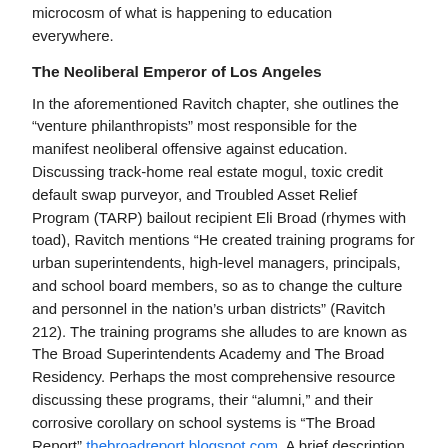microcosm of what is happening to education everywhere.
The Neoliberal Emperor of Los Angeles
In the aforementioned Ravitch chapter, she outlines the “venture philanthropists” most responsible for the manifest neoliberal offensive against education. Discussing track-home real estate mogul, toxic credit default swap purveyor, and Troubled Asset Relief Program (TARP) bailout recipient Eli Broad (rhymes with toad), Ravitch mentions “He created training programs for urban superintendents, high-level managers, principals, and school board members, so as to change the culture and personnel in the nation’s urban districts” (Ravitch 212). The training programs she alludes to are known as The Broad Superintendents Academy and The Broad Residency. Perhaps the most comprehensive resource discussing these programs, their “alumni,” and their corrosive corollary on school systems is “The Broad Report” thebroadreport.blogspot.com. A brief description of these unaccredited and unaccountable programs is that they are facilities to train – for the most part – non-educators in the most callous aspects of neoliberal policy. The foundation then pays districts to let these trainees inflict those policies on communities.
Broad unleashed some of his favorite disciples in his adopted back yard. Matt Hill, John Deasy, and Marshall Tuck, “graduates” of Broad